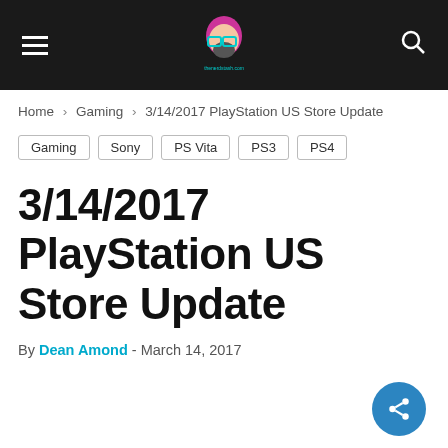Site navigation header with hamburger menu, logo, and search icon
Home › Gaming › 3/14/2017 PlayStation US Store Update
Gaming
Sony
PS Vita
PS3
PS4
3/14/2017 PlayStation US Store Update
By Dean Amond - March 14, 2017
Footer bar with social share icons and English language selector